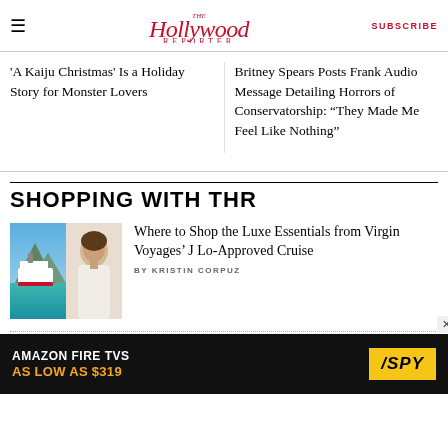The Hollywood Reporter | SUBSCRIBE
'A Kaiju Christmas' Is a Holiday Story for Monster Lovers
Britney Spears Posts Frank Audio Message Detailing Horrors of Conservatorship: “They Made Me Feel Like Nothing”
SHOPPING WITH THR
[Figure (photo): Two-panel image showing a Virgin Voyages cruise ship on turquoise water (left) and a woman model (right)]
Where to Shop the Luxe Essentials from Virgin Voyages’ J Lo-Approved Cruise
BY KRISTIN CORPUZ
[Figure (other): Advertisement: Amazon Fire TVs As Low As $319 - SPY]